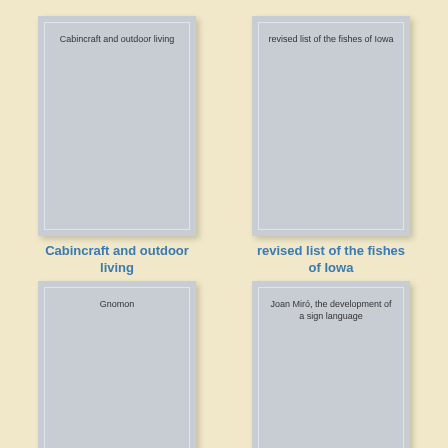[Figure (illustration): Book cover placeholder for 'Cabincraft and outdoor living' — grey rectangle with title text inside, white border inset]
Cabincraft and outdoor living
[Figure (illustration): Book cover placeholder for 'revised list of the fishes of Iowa' — grey rectangle with title text inside, white border inset]
revised list of the fishes of Iowa
[Figure (illustration): Book cover placeholder for 'Gnomon' — grey rectangle with title text inside, white border inset]
[Figure (illustration): Book cover placeholder for 'Joan Miró, the development of a sign language' — grey rectangle with title text inside, white border inset]